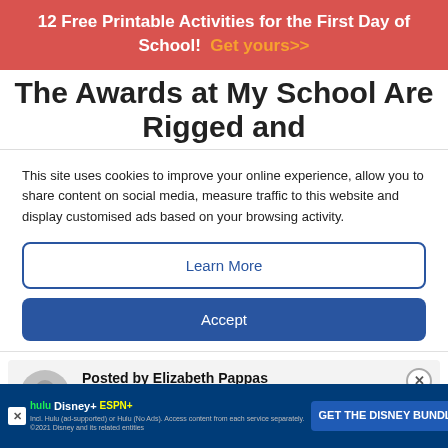12 Free Printable Activities for the First Day of School! Get yours>>
The Awards at My School Are Rigged and
This site uses cookies to improve your online experience, allow you to share content on social media, measure traffic to this website and display customised ads based on your browsing activity.
Learn More
Accept
Posted by Elizabeth Pappas
For 28 years I've worked in Education